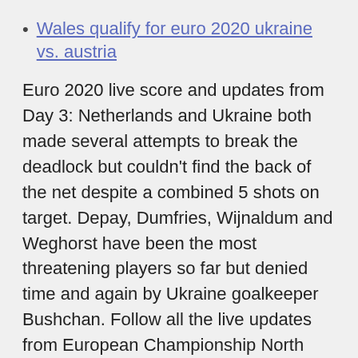Wales qualify for euro 2020 ukraine vs. austria
Euro 2020 live score and updates from Day 3: Netherlands and Ukraine both made several attempts to break the deadlock but couldn't find the back of the net despite a combined 5 shots on target. Depay, Dumfries, Wijnaldum and Weghorst have been the most threatening players so far but denied time and again by Ukraine goalkeeper Bushchan. Follow all the live updates from European Championship North Macedonia can be proud of its performance in the country's first appearance on the big stage despite a 3-1 defeat by Austria in their opening Euro 2020 Group C clash, coach Igor Angelovski said.